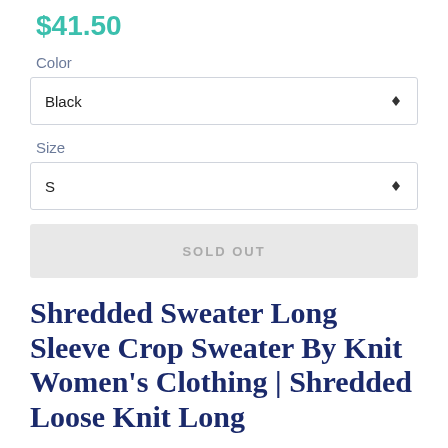$41.50
Color
Black
Size
S
SOLD OUT
Shredded Sweater Long Sleeve Crop Sweater By Knit Women's Clothing | Shredded Loose Knit Long